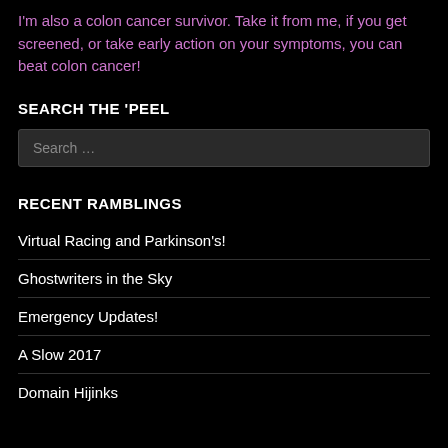I'm also a colon cancer survivor. Take it from me, if you get screened, or take early action on your symptoms, you can beat colon cancer!
SEARCH THE 'PEEL
Search …
RECENT RAMBLINGS
Virtual Racing and Parkinson's!
Ghostwriters in the Sky
Emergency Updates!
A Slow 2017
Domain Hijinks